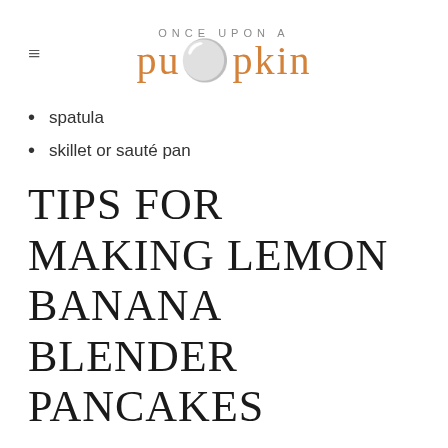ONCE UPON A pumpkin
spatula
skillet or sauté pan
TIPS FOR MAKING LEMON BANANA BLENDER PANCAKES
Get out all of the ingredients before you start making them. I like to do this for every recipe no matter how easy or complicated it might be. It helps to make sure